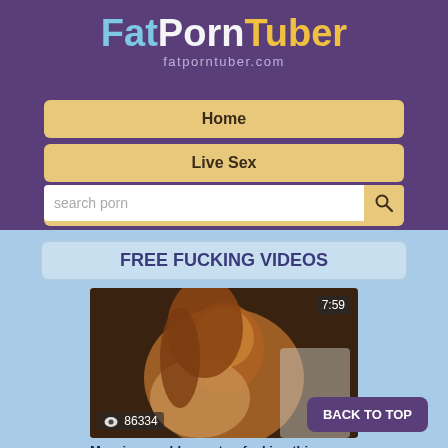FatPornTuber fatporntuber.com
Home
Live Sex
Premium Access
FREE FUCKING VIDEOS
[Figure (photo): Video thumbnail showing a woman, duration 7:59, views 86334]
Massive ass bbw on top fucking this...